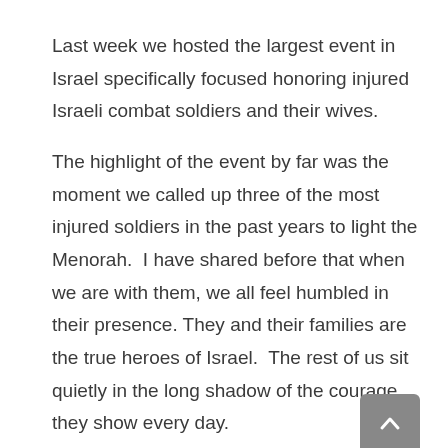Last week we hosted the largest event in Israel specifically focused honoring injured Israeli combat soldiers and their wives.
The highlight of the event by far was the moment we called up three of the most injured soldiers in the past years to light the Menorah.  I have shared before that when we are with them, we all feel humbled in their presence. They and their families are the true heroes of Israel.  The rest of us sit quietly in the long shadow of the courage they show every day.
These soldiers as they came to the front